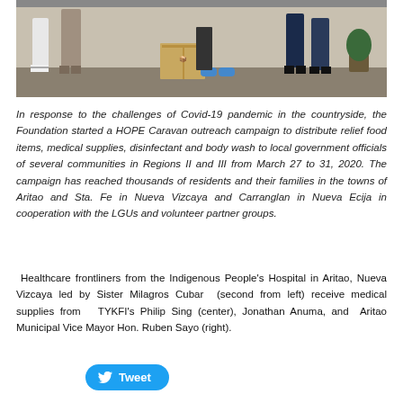[Figure (photo): Photo showing legs/feet of several people standing outdoors on a sidewalk/ground, with a cardboard box visible in the middle. People appear to be distributing or receiving supplies.]
In response to the challenges of Covid-19 pandemic in the countryside, the Foundation started a HOPE Caravan outreach campaign to distribute relief food items, medical supplies, disinfectant and body wash to local government officials of several communities in Regions II and III from March 27 to 31, 2020. The campaign has reached thousands of residents and their families in the towns of Aritao and Sta. Fe in Nueva Vizcaya and Carranglan in Nueva Ecija in cooperation with the LGUs and volunteer partner groups.
Healthcare frontliners from the Indigenous People's Hospital in Aritao, Nueva Vizcaya led by Sister Milagros Cubar (second from left) receive medical supplies from TYKFI's Philip Sing (center), Jonathan Anuma, and Aritao Municipal Vice Mayor Hon. Ruben Sayo (right).